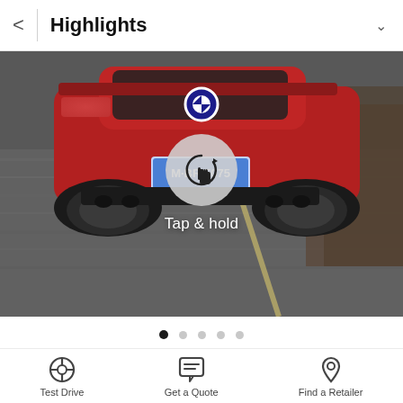Highlights
[Figure (photo): Red BMW M car photographed from the rear at speed on a road, with motion blur effect. License plate reads M-BR 5075. A circular tap-and-hold button overlay is visible in the center of the image, with text 'Tap & hold' below it.]
[Figure (infographic): Carousel pagination dots: 5 dots shown, first dot is filled/active (black), remaining four are gray/inactive.]
[Figure (infographic): Horizontal timeline/scrubber bar with tick marks at various positions, colored segments in gray, muted purple/blue, and peach/salmon.]
Test Drive
Get a Quote
Find a Retailer